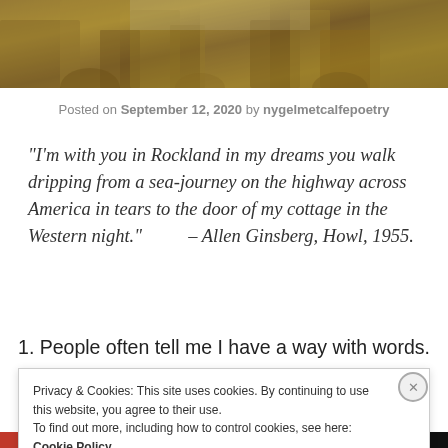[Figure (photo): A cropped section of a Renaissance-style painting showing a tower/building with stone architecture in warm ochre and brown tones, likely the Tower of Babel.]
Posted on September 12, 2020 by nygelmetcalfepoetry
“I’m with you in Rockland in my dreams you walk dripping from a sea-journey on the highway across America in tears to the door of my cottage in the Western night.” – Allen Ginsberg, Howl, 1955.
1. People often tell me I have a way with words.
Privacy & Cookies: This site uses cookies. By continuing to use this website, you agree to their use.
To find out more, including how to control cookies, see here: Cookie Policy
Close and accept